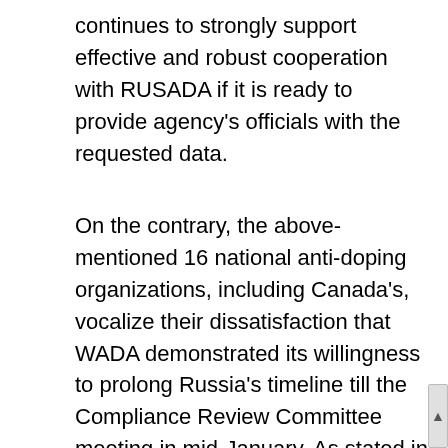continues to strongly support effective and robust cooperation with RUSADA if it is ready to provide agency's officials with the requested data.
On the contrary, the above-mentioned 16 national anti-doping organizations, including Canada's, vocalize their dissatisfaction that WADA demonstrated its willingness to prolong Russia's timeline till the Compliance Review Committee meeting in mid-January. As stated in the document, WADA is now urged "to acknowledge the gravity of this missed deadline and call for an immediate review and recommendation from the CRC." And as it is phrased by Paul Melia, President and CEO of the Canadian Centre for